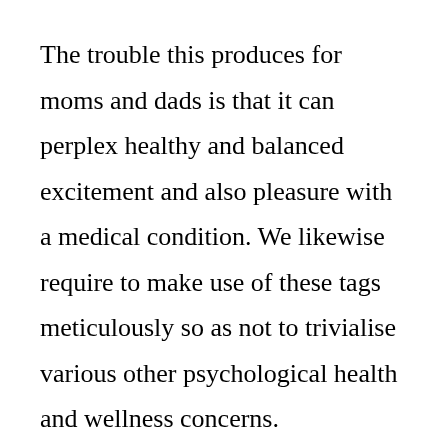The trouble this produces for moms and dads is that it can perplex healthy and balanced excitement and also pleasure with a medical condition. We likewise require to make use of these tags meticulously so as not to trivialise various other psychological health and wellness concerns.
That stated, it does supply useful language to determine when kids wander off from pleasure and also devoted video gaming right